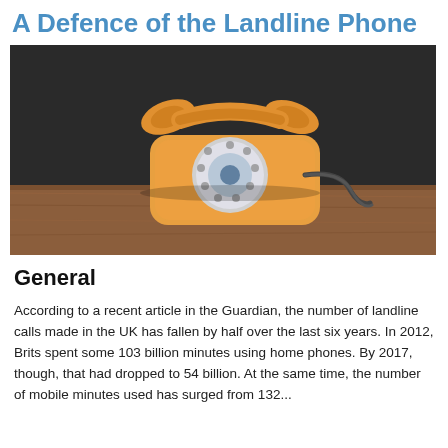A Defence of the Landline Phone
[Figure (photo): A vintage yellow rotary telephone sitting on a wooden surface against a dark background]
General
According to a recent article in the Guardian, the number of landline calls made in the UK has fallen by half over the last six years. In 2012, Brits spent some 103 billion minutes using home phones. By 2017, though, that had dropped to 54 billion. At the same time, the number of mobile minutes used has surged from 132...